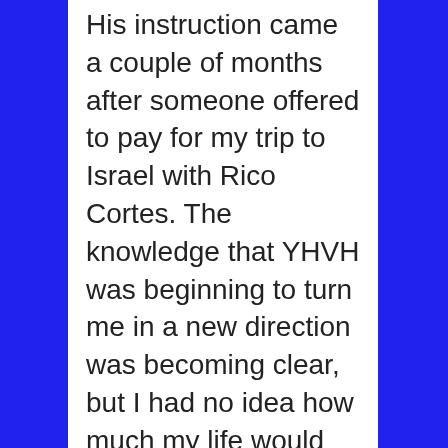His instruction came a couple of months after someone offered to pay for my trip to Israel with Rico Cortes. The knowledge that YHVH was beginning to turn me in a new direction was becoming clear, but I had no idea how much my life would change over the next two years.
YHVH dealt with me differently on this subject than in everything else He has shown me. Either that, or I was as resistant to